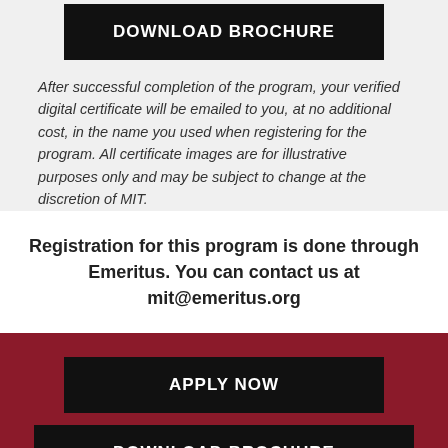DOWNLOAD BROCHURE
After successful completion of the program, your verified digital certificate will be emailed to you, at no additional cost, in the name you used when registering for the program. All certificate images are for illustrative purposes only and may be subject to change at the discretion of MIT.
Registration for this program is done through Emeritus. You can contact us at mit@emeritus.org
APPLY NOW
DOWNLOAD BROCHURE